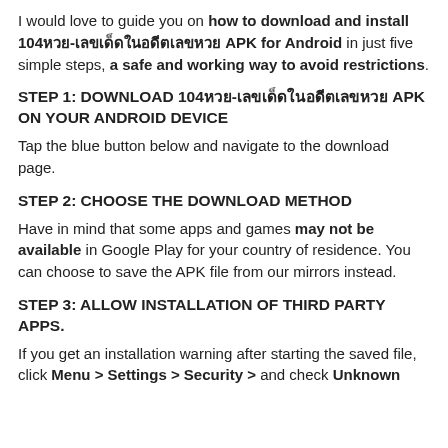I would love to guide you on how to download and install 104หวย-เลขเด็ดในอดีตเลขหวย APK for Android in just five simple steps, a safe and working way to avoid restrictions.
STEP 1: DOWNLOAD 104หวย-เลขเด็ดในอดีตเลขหวย APK ON YOUR ANDROID DEVICE
Tap the blue button below and navigate to the download page.
STEP 2: CHOOSE THE DOWNLOAD METHOD
Have in mind that some apps and games may not be available in Google Play for your country of residence. You can choose to save the APK file from our mirrors instead.
STEP 3: ALLOW INSTALLATION OF THIRD PARTY APPS.
If you get an installation warning after starting the saved file, click Menu > Settings > Security > and check Unknown